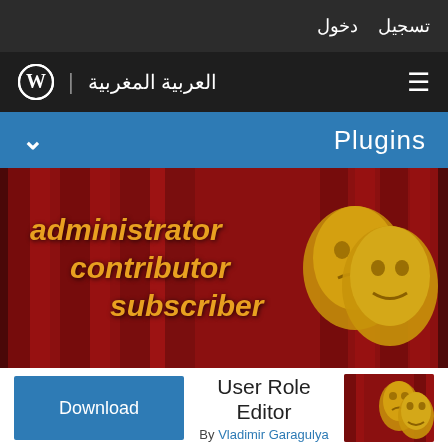تسجيل  دخول
العربية المغربية | WordPress
Plugins
[Figure (illustration): WordPress plugin banner showing two golden theater masks on a red curtain background with text: administrator, contributor, subscriber in golden italic font]
Download   User Role Editor  By Vladimir Garagulya